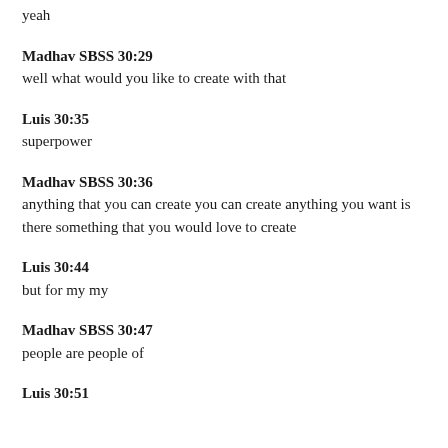yeah
Madhav SBSS 30:29
well what would you like to create with that
Luis 30:35
superpower
Madhav SBSS 30:36
anything that you can create you can create anything you want is there something that you would love to create
Luis 30:44
but for my my
Madhav SBSS 30:47
people are people of
Luis 30:51